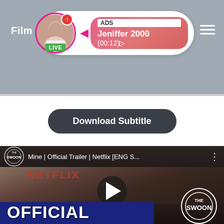[Figure (screenshot): Mobile app advertisement overlay showing a story/notification pill with a woman's avatar thumbnail labeled LIVE, an ADS badge, text 'Jeniffer 2000' and timer '(00:12)']
Film
ADS
Jeniffer 2000
(00:12)
Download Subtitle
[Figure (screenshot): YouTube video thumbnail for 'Mine | Official Trailer | Netflix [ENG S...' from The Swoon channel, showing a Korean woman's face, with OFFICIAL text and THE SWOON logo at bottom]